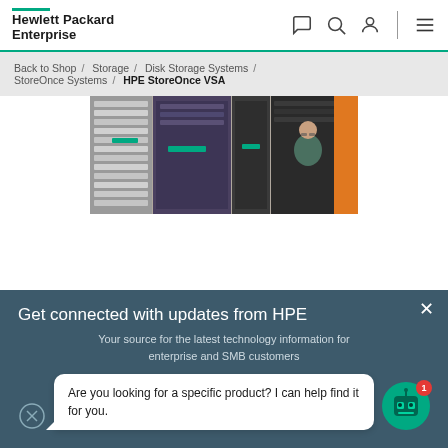Hewlett Packard Enterprise
Back to Shop / Storage / Disk Storage Systems / StoreOnce Systems / HPE StoreOnce VSA
[Figure (photo): Photo of server rack equipment in a data center with a person inspecting the servers. Dark-colored rack servers with teal/green HPE branding accents visible.]
Get connected with updates from HPE
Your source for the latest technology information for enterprise and SMB customers
Are you looking for a specific product? I can help find it for you.